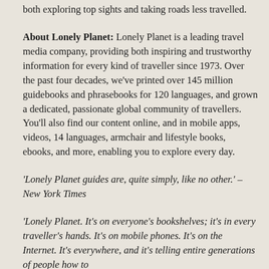both exploring top sights and taking roads less travelled.
About Lonely Planet: Lonely Planet is a leading travel media company, providing both inspiring and trustworthy information for every kind of traveller since 1973. Over the past four decades, we've printed over 145 million guidebooks and phrasebooks for 120 languages, and grown a dedicated, passionate global community of travellers. You'll also find our content online, and in mobile apps, videos, 14 languages, armchair and lifestyle books, ebooks, and more, enabling you to explore every day.
'Lonely Planet guides are, quite simply, like no other.' – New York Times
'Lonely Planet. It's on everyone's bookshelves; it's in every traveller's hands. It's on mobile phones. It's on the Internet. It's everywhere, and it's telling entire generations of people how to